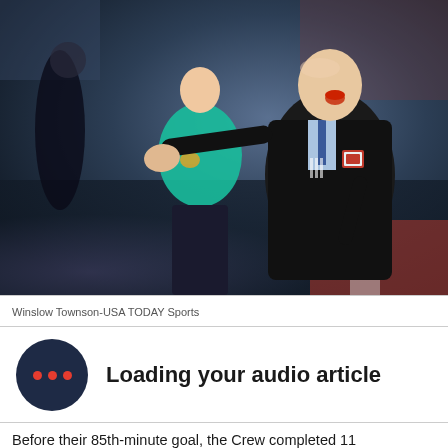[Figure (photo): A soccer coach in a black Adidas jacket with a New England Revolution badge gestures passionately with one arm extended, mouth open, apparently shouting instructions. A referee in a cyan/turquoise shirt stands in the background.]
Winslow Townson-USA TODAY Sports
Loading your audio article
Before their 85th-minute goal, the Crew completed 11